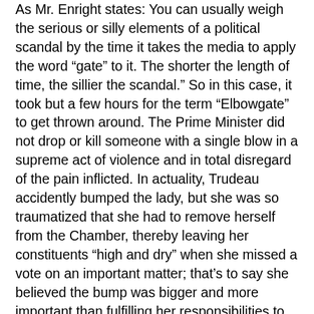As Mr. Enright states: "You can usually weigh the serious or silly elements of a political scandal by the time it takes the media to apply the word “gate” to it. The shorter the length of time, the sillier the scandal.” So in this case, it took but a few hours for the term “Elbowgate” to get thrown around. The Prime Minister did not drop or kill someone with a single blow in a supreme act of violence and in total disregard of the pain inflicted. In actuality, Trudeau accidently bumped the lady, but she was so traumatized that she had to remove herself from the Chamber, thereby leaving her constituents “high and dry” when she missed a vote on an important matter; that’s to say she believed the bump was bigger and more important than fulfilling her responsibilities to the people regarding the subject of the vote. Some representative!
This is but another example of how low our society has gotten, when so many people purposefully “make mountains out of mole hills.” Why? To advance their own agendas, while trying to present themselves, or “look,” better than all others who might not be sympathetic to their belief or cause. Everyone else is a three-headed monster that is out for